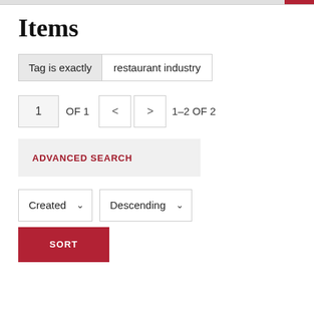Items
Tag is exactly   restaurant industry
1  OF 1  <  >  1–2 OF 2
ADVANCED SEARCH
Created  ∨   Descending  ∨
SORT